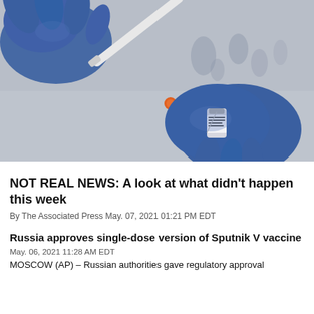[Figure (photo): Close-up of blue-gloved hands drawing liquid from a vaccine vial using a syringe with an orange cap. Multiple vials visible in the blurred background.]
NOT REAL NEWS: A look at what didn't happen this week
By The Associated Press May. 07, 2021 01:21 PM EDT
Russia approves single-dose version of Sputnik V vaccine
May. 06, 2021 11:28 AM EDT
MOSCOW (AP) – Russian authorities gave regulatory approval